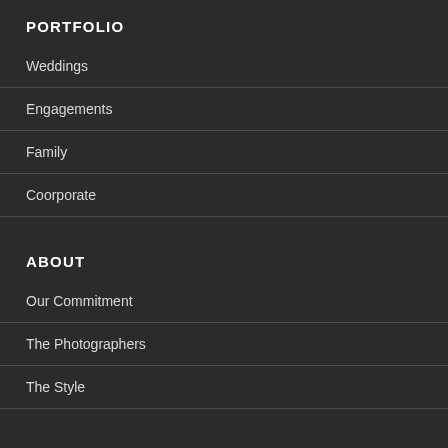PORTFOLIO
Weddings
Engagements
Family
Coorporate
ABOUT
Our Commitment
The Photographers
The Style